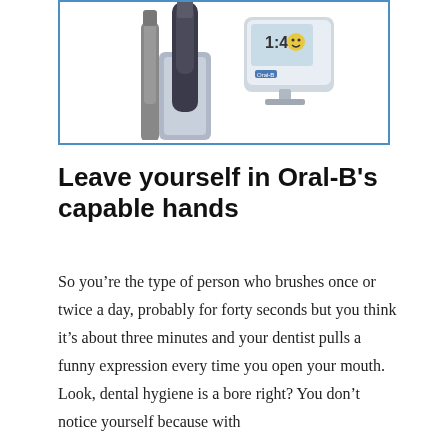[Figure (photo): Electric toothbrush product photo showing an Oral-B electric toothbrush with charging station and smart display device, shown in a blue-bordered box]
Leave yourself in Oral-B's capable hands
So you’re the type of person who brushes once or twice a day, probably for forty seconds but you think it’s about three minutes and your dentist pulls a funny expression every time you open your mouth. Look, dental hygiene is a bore right? You don’t notice yourself because with